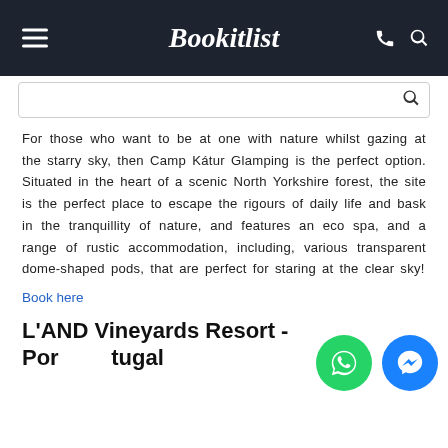Bookitlist
For those who want to be at one with nature whilst gazing at the starry sky, then Camp Kátur Glamping is the perfect option. Situated in the heart of a scenic North Yorkshire forest, the site is the perfect place to escape the rigours of daily life and bask in the tranquillity of nature, and features an eco spa, and a range of rustic accommodation, including, various transparent dome-shaped pods, that are perfect for staring at the clear sky!
Book here
L'AND Vineyards Resort - Portugal